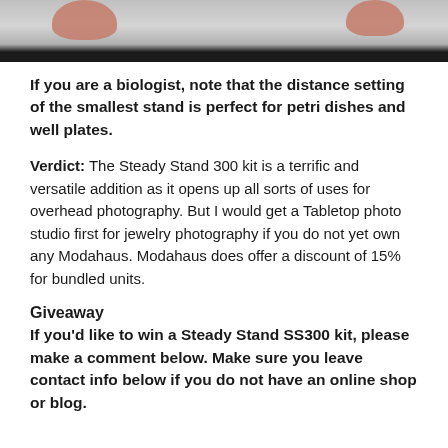[Figure (photo): Top portion of a photo showing fingers holding something above a white surface, with a black bar at the bottom of the image strip.]
If you are a biologist, note that the distance setting of the smallest stand is perfect for petri dishes and well plates.
Verdict:  The Steady Stand 300 kit is a terrific and versatile addition as it opens up all sorts of uses for overhead photography.  But I would get a Tabletop photo studio first for jewelry photography if you do not yet own any Modahaus. Modahaus does offer a discount of 15% for bundled units.
Giveaway
If you'd like to win a Steady Stand SS300 kit, please make a comment below.  Make sure you leave contact info below if you do not have an online shop or blog.